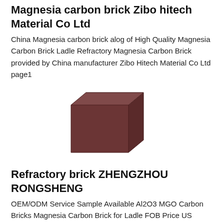Magnesia carbon brick Zibo hitech Material Co Ltd
China Magnesia carbon brick alog of High Quality Magnesia Carbon Brick Ladle Refractory Magnesia Carbon Brick provided by China manufacturer Zibo Hitech Material Co Ltd page1
[Figure (photo): A rectangular magnesia carbon refractory brick, dark reddish-brown in color, shown in a 3D perspective view with visible top and side faces.]
Refractory brick ZHENGZHOU RONGSHENG
OEM/ODM Service Sample Available Al2O3 MGO Carbon Bricks Magnesia Carbon Brick for Ladle FOB Price US 300750 / Ton Min Order 1 Ton Rongsheng Refractory Magnesia Carbon Refractory Fire Bricks for Sale FOB Price US 300750 / Ton Min Order 1